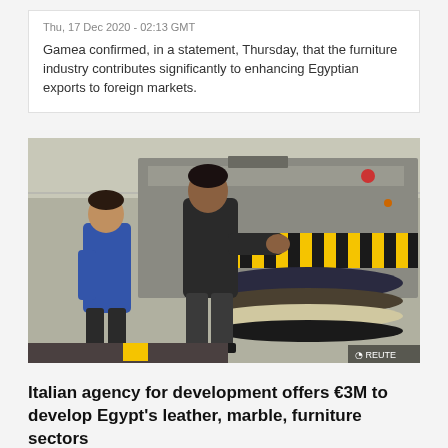Thu, 17 Dec 2020 - 02:13 GMT
Gamea confirmed, in a statement, Thursday, that the furniture industry contributes significantly to enhancing Egyptian exports to foreign markets.
[Figure (photo): Two workers operating a large industrial roller/laminating machine in a factory. One worker in a black shirt is feeding material into the machine which has black and yellow hazard striping. A Reuters watermark is visible.]
Italian agency for development offers €3M to develop Egypt's leather, marble, furniture sectors